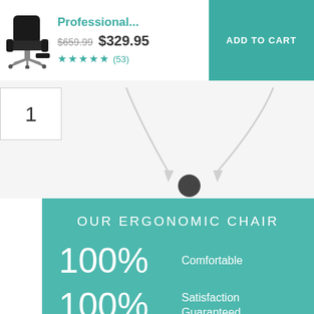[Figure (illustration): Black leather professional office chair with footrest product image]
Professional...
$659.99 $329.95
★★★★★ (53)
ADD TO CART
1
OUR ERGONOMIC CHAIR
100%
Comfortable
100%
Satisfaction Guaranteed
5,217+
Positively Affected